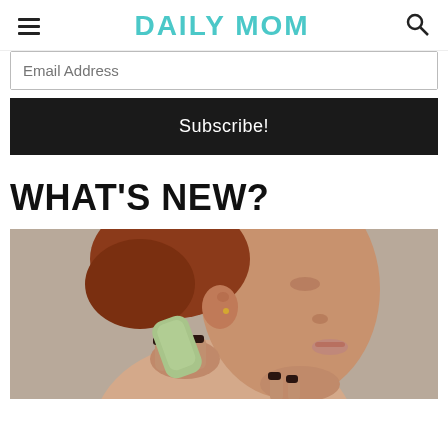DAILY MOM
Email Address
Subscribe!
WHAT'S NEW?
[Figure (photo): Close-up photo of a woman with red hair using a green gua sha stone tool on her jawline/cheek area, dark painted nails visible, neutral beige background.]